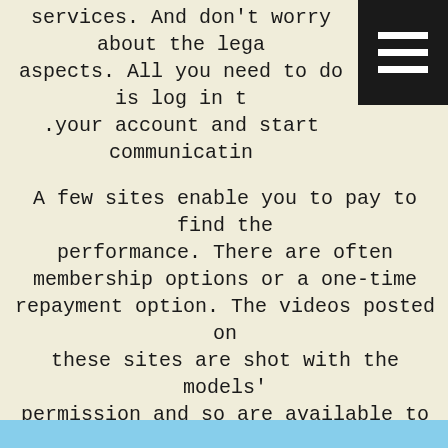services. And don't worry about the legal aspects. All you need to do is log in to your account and start communicating.
A few sites enable you to pay to find the performance. There are often membership options or a one-time repayment option. The videos posted on these sites are shot with the models' permission and so are available to everyone. You can even apply your webcam to contact the models straight. They will generally understand what you're looking for, and will be happy to oblige. Aside from purchasing a special, many of these sites also let you contact the performers directly.